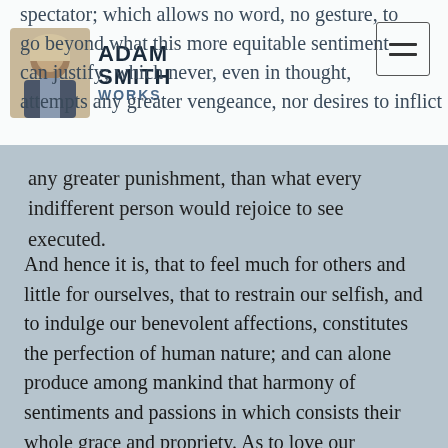Adam Smith Works
spectator; which allows no word, no gesture, to go beyond what this more equitable sentiment can justify; which never, even in thought, attempts any greater vengeance, nor desires to inflict any greater punishment, than what every indifferent person would rejoice to see executed.
And hence it is, that to feel much for others and little for ourselves, that to restrain our selfish, and to indulge our benevolent affections, constitutes the perfection of human nature; and can alone produce among mankind that harmony of sentiments and passions in which consists their whole grace and propriety. As to love our neighbour as we love ourselves is the great law of Christianity, so it is the great precept of nature to love ourselves only as we love our neighbour, or what comes to the same thing, as our neighbour is capable of loving us.